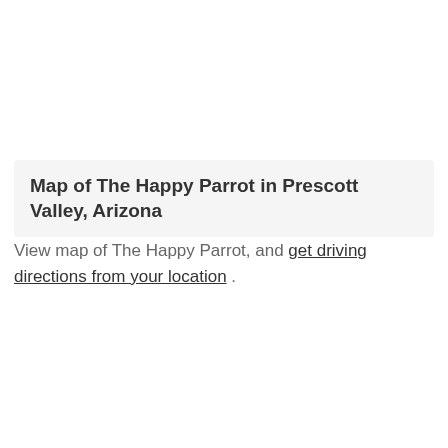Map of The Happy Parrot in Prescott Valley, Arizona
View map of The Happy Parrot, and get driving directions from your location .